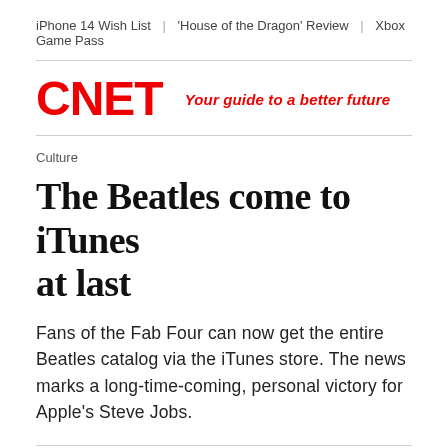iPhone 14 Wish List  |  'House of the Dragon' Review  |  Xbox Game Pass
CNET  Your guide to a better future
Culture
The Beatles come to iTunes at last
Fans of the Fab Four can now get the entire Beatles catalog via the iTunes store. The news marks a long-time-coming, personal victory for Apple's Steve Jobs.